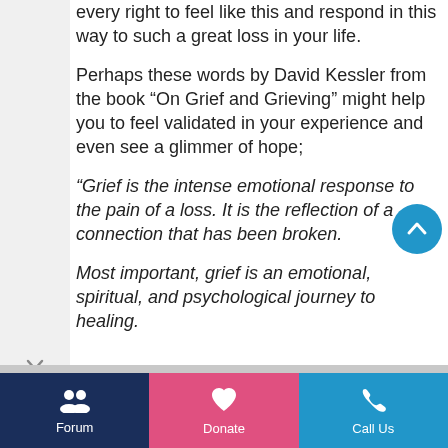every right to feel like this and respond in this way to such a great loss in your life.
Perhaps these words by David Kessler from the book “On Grief and Grieving” might help you to feel validated in your experience and even see a glimmer of hope;
“Grief is the intense emotional response to the pain of a loss. It is the reflection of a connection that has been broken.
Most important, grief is an emotional, spiritual, and psychological journey to healing.
[Figure (other): Scroll-to-top circular blue button with upward chevron icon]
Forum  Donate  Call Us